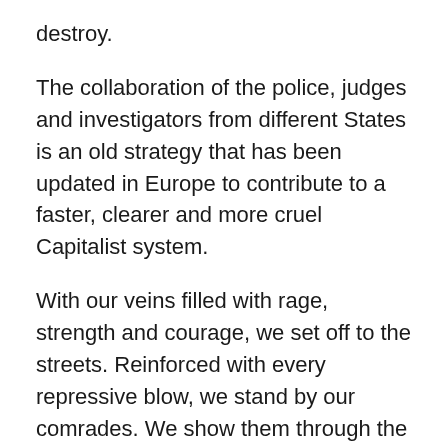destroy.
The collaboration of the police, judges and investigators from different States is an old strategy that has been updated in Europe to contribute to a faster, clearer and more cruel Capitalist system.
With our veins filled with rage, strength and courage, we set off to the streets. Reinforced with every repressive blow, we stand by our comrades. We show them through the continuation of our struggles and through our solidarity the desire for the destruction of a system we do not want or need.
This is a call to solidarity with the anarchists accused of robbery in Aachen. It is a call to maintain the links between the rebels and the oppressed wherever possible throughout the world.